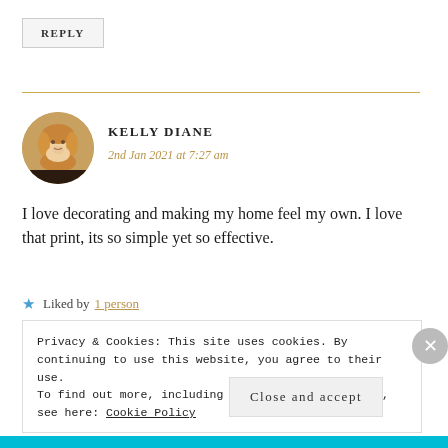REPLY
KELLY DIANE
2nd Jan 2021 at 7:27 am
[Figure (photo): Circular avatar photo of a young woman with blonde hair smiling]
I love decorating and making my home feel my own. I love that print, its so simple yet so effective.
Liked by 1 person
Privacy & Cookies: This site uses cookies. By continuing to use this website, you agree to their use.
To find out more, including how to control cookies, see here: Cookie Policy
Close and accept